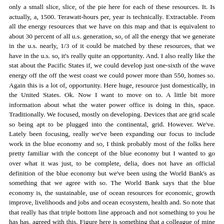only a small slice, slice, of the pie here for each of these resources. It. Is actually, a, 1500. Terawatt-hours per, year is technically. Extractable. From all the energy resources that we have on this map and that is equivalent to about 30 percent of all u.s. generation, so, of all the energy that we generate in the u.s. nearly, 1/3 of it could be matched by these resources, that we have in the u.s. so, it's really quite an opportunity. And. I also really like the stat about the Pacific States if, we could develop just one-sixth of the wave energy off the off the west coast we could power more than 550, homes so. Again this is a lot of, opportunity. Here huge, resource just domestically, in the United States. Ok. Now I want to move on to. A little bit more information about what the water power office is doing in this, space. Traditionally. We focused, mostly on developing. Devices that are grid scale so being apt to be plugged into the continental, grid. However. We've. Lately been focusing, really we've been expanding our focus to include work in the blue economy and so, I think probably most of the folks here pretty familiar with the concept of the blue economy but I wanted to go over what it was just, to be complete, delia, does not have an official definition of the blue economy but we've been using the World Bank's as something that we agree with so. The World Bank says that the blue economy is, the sustainable, use of ocean resources for economic, growth improve, livelihoods and jobs and ocean ecosystem, health and. So note that that really has that triple bottom line approach and not something to you he has has, agreed with this. Figure here is something that a colleague of mine put together and, I think it's a really cool figure because it shows, both. The scope of what we're calling the blue economy pretty, much anything that happens in the ocean, and. It also includes a NOAA study so if we look at. This. One here, the OECD, estimated, in 2010, that, the blue economy is worth about 1.5, trillion and estimates. The value. Of the blue economy you'd be about three trillion in 2030. And. Then Noah did a study that showed just, one small slice of this pie, ocean. Measuring observation, and forecasting. Collecting by ocean technology capabilities, all comes to about one year about the